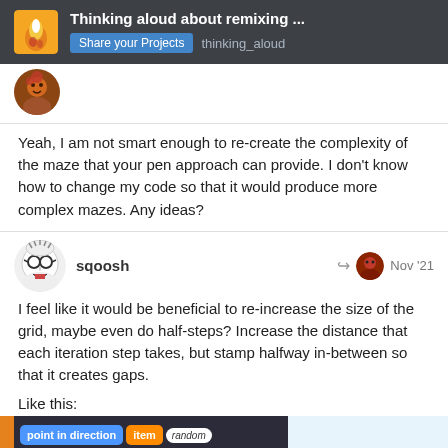Thinking aloud about remixing ... | Share your Projects | thinking_aloud
Yeah, I am not smart enough to re-create the complexity of the maze that your pen approach can provide. I don't know how to change my code so that it would produce more complex mazes. Any ideas?
sqoosh  Nov '21
I feel like it would be beneficial to re-increase the size of the grid, maybe even do half-steps? Increase the distance that each iteration step takes, but stamp halfway in-between so that it creates gaps.
Like this:
[Figure (screenshot): Scratch programming blocks showing: point in direction item random, move 15 steps, stamp]
4 / 24